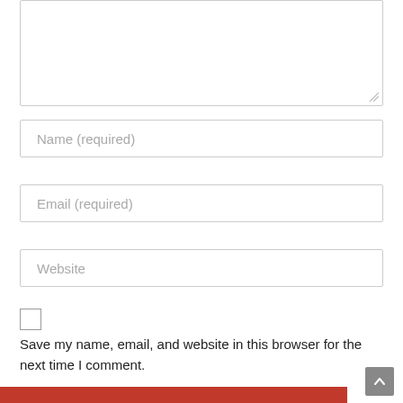[Figure (screenshot): Textarea input box (empty, resizable) at the top of the page]
Name (required)
Email (required)
Website
[Figure (other): Checkbox (unchecked)]
Save my name, email, and website in this browser for the next time I comment.
[Figure (other): Scroll-to-top button (grey square with upward arrow) in bottom-right corner]
[Figure (other): Red bar at bottom of page]